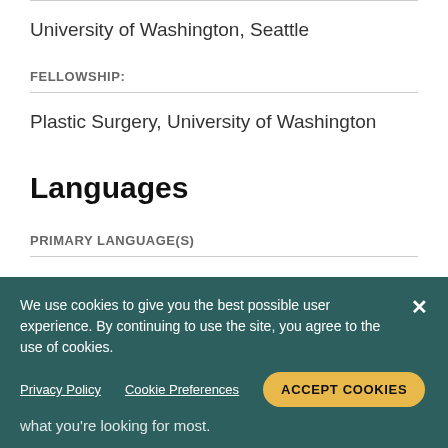University of Washington, Seattle
FELLOWSHIP:
Plastic Surgery, University of Washington
Languages
PRIMARY LANGUAGE(S)
English
We use cookies to give you the best possible user experience. By continuing to use the site, you agree to the use of cookies.
Privacy Policy   Cookie Preferences   ACCEPT COOKIES